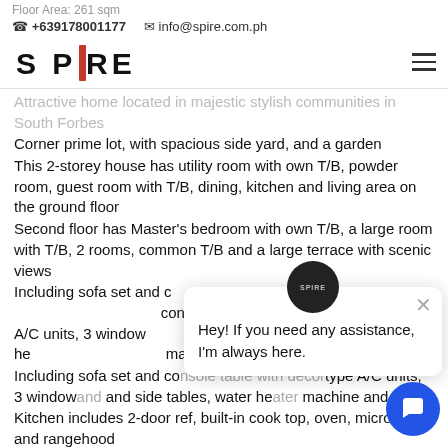Floor Area: 261 sqm
📞 +639178001177   ✉ info@spire.com.ph
[Figure (logo): SPIRE logo with red vertical bar between S and IRE]
Attractive home located in majestic stylish communities in South Forbes
Corner prime lot, with spacious side yard, and a garden
This 2-storey house has utility room with own T/B, powder room, guest room with T/B, dining, kitchen and living area on the ground floor
Second floor has Master's bedroom with own T/B, a large room with T/B, 2 rooms, common T/B and a large terrace with scenic views
Including sofa set and console table with decor type A/C units, 3 window and side tables, water heater machine and dryer
Kitchen includes 2-door ref, built-in cook top, oven, microwave and rangehood
Amenities your family can enjoy such as swimming basketball court, clubhouse, pocket parks and other landscape features